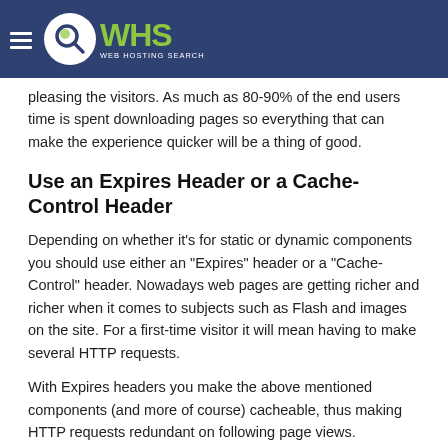WHS Web Hosting Search
pleasing the visitors. As much as 80-90% of the end users time is spent downloading pages so everything that can make the experience quicker will be a thing of good.
Use an Expires Header or a Cache-Control Header
Depending on whether it's for static or dynamic components you should use either an "Expires" header or a "Cache-Control" header. Nowadays web pages are getting richer and richer when it comes to subjects such as Flash and images on the site. For a first-time visitor it will mean having to make several HTTP requests.
With Expires headers you make the above mentioned components (and more of course) cacheable, thus making HTTP requests redundant on following page views. Browsers, as well as proxies, use a cache which makes it much faster to load web pages.
Gzip Components and Speed Things Up